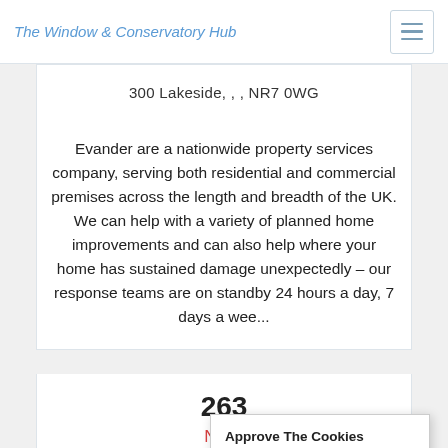The Window & Conservatory Hub
300 Lakeside, , , NR7 0WG
Evander are a nationwide property services company, serving both residential and commercial premises across the length and breadth of the UK. We can help with a variety of planned home improvements and can also help where your home has sustained damage unexpectedly – our response teams are on standby 24 hours a day, 7 days a wee...
263
Natio...
[Figure (other): Star rating display showing 4 stars out of 5]
Approve The Cookies
This site uses cookies to improve your user experience.
Accept | Decline
Cookie policy